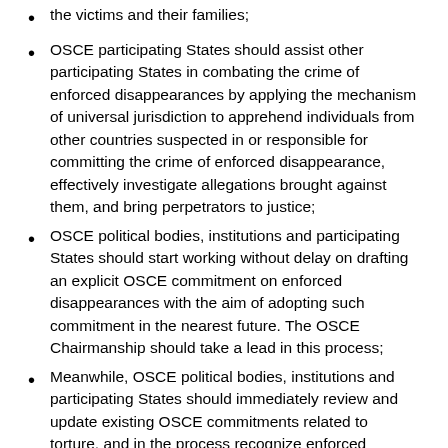the victims and their families;
OSCE participating States should assist other participating States in combating the crime of enforced disappearances by applying the mechanism of universal jurisdiction to apprehend individuals from other countries suspected in or responsible for committing the crime of enforced disappearance, effectively investigate allegations brought against them, and bring perpetrators to justice;
OSCE political bodies, institutions and participating States should start working without delay on drafting an explicit OSCE commitment on enforced disappearances with the aim of adopting such commitment in the nearest future. The OSCE Chairmanship should take a lead in this process;
Meanwhile, OSCE political bodies, institutions and participating States should immediately review and update existing OSCE commitments related to torture, and in the process recognize enforced disappearance as a crime and a form of torture. The OSCE Chairmanship should organise the process of preparing updated OSCE commitments on torture that would include enforced disappearance as a form of torture;